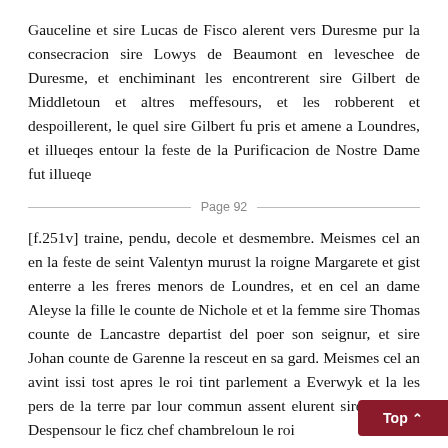Gauceline et sire Lucas de Fisco alerent vers Duresme pur la consecracion sire Lowys de Beaumont en leveschee de Duresme, et enchiminant les encontrerent sire Gilbert de Middletoun et altres meffesours, et les robberent et despoillerent, le quel sire Gilbert fu pris et amene a Loundres, et illueqes entour la feste de la Purificacion de Nostre Dame fut illueqe
Page 92
[f.251v] traine, pendu, decole et desmembre. Meismes cel an en la feste de seint Valentyn murust la roigne Margarete et gist enterre a les freres menors de Loundres, et en cel an dame Aleyse la fille le counte de Nichole et et la femme sire Thomas counte de Lancastre departist del poer son seignur, et sire Johan counte de Garenne la resceut en sa gard. Meismes cel an avint issi tost apres le roi tint parlement a Everwyk et la les pers de la terre par lour commun assent elurent sire Hugh le Despensour le ficz chef chambreloun le roi